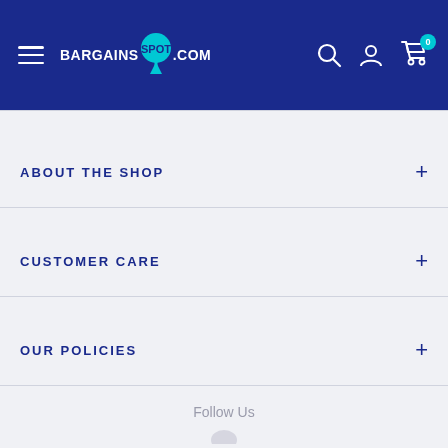BargainsSpot.com — navigation header with hamburger menu, logo, search, account, and cart icons
ABOUT THE SHOP
CUSTOMER CARE
OUR POLICIES
Follow Us